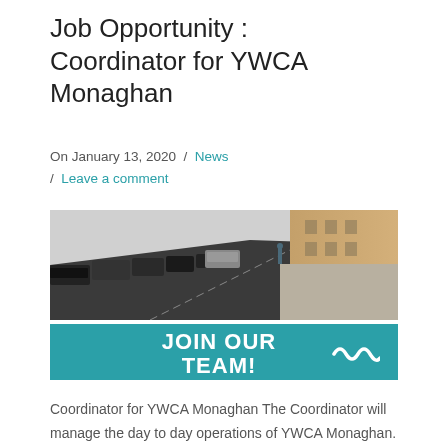Job Opportunity : Coordinator for YWCA Monaghan
On January 13, 2020  /  News / Leave a comment
[Figure (photo): Street scene photo with cars parked along a road, teal banner below reading 'JOIN OUR TEAM!' with wave logo]
Coordinator for YWCA Monaghan The Coordinator will manage the day to day operations of YWCA Monaghan. Responsibilities will include office administration, customer service and coordination of all aspects of property maintenance.  Minimum 12 hours per week